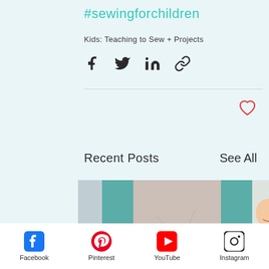#sewingforchildren
Kids: Teaching to Sew + Projects
[Figure (infographic): Social share icons: Facebook, Twitter, LinkedIn, Link]
[Figure (infographic): Heart/like button icon in red outline]
Recent Posts
See All
[Figure (photo): Blog post thumbnail showing a grey sleeveless top with teal fabric on the sides, hanging on a white door]
[Figure (photo): Partial blog post thumbnail showing a smiling child against a brick wall background]
Facebook  Pinterest  YouTube  Instagram